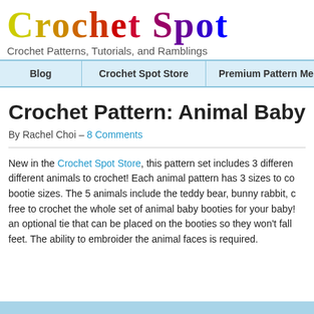Crochet Spot — Crochet Patterns, Tutorials, and Ramblings
Crochet Pattern: Animal Baby
By Rachel Choi – 8 Comments
New in the Crochet Spot Store, this pattern set includes 3 different animals to crochet! Each animal pattern has 3 sizes to cover bootie sizes. The 5 animals include the teddy bear, bunny rabbit, c free to crochet the whole set of animal baby booties for your baby! an optional tie that can be placed on the booties so they won't fall feet. The ability to embroider the animal faces is required.